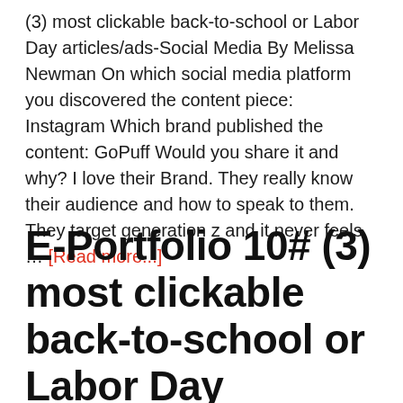(3) most clickable back-to-school or Labor Day articles/ads-Social Media By Melissa Newman On which social media platform you discovered the content piece: Instagram Which brand published the content: GoPuff Would you share it and why? I love their Brand. They really know their audience and how to speak to them. They target generation z and it never feels … [Read more...]
E-Portfolio 10# (3) most clickable back-to-school or Labor Day articles/ads-Content Marketing